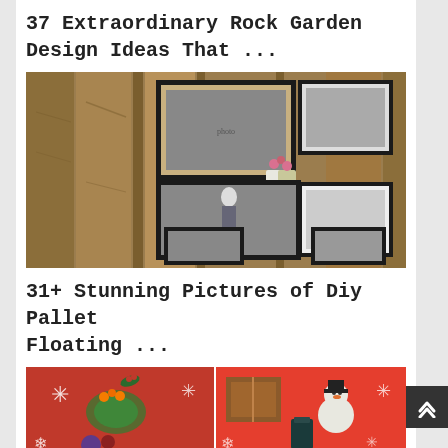37 Extraordinary Rock Garden Design Ideas That ...
[Figure (photo): Photo gallery wall made from reclaimed wood pallet planks with multiple black framed pictures arranged on it]
31+ Stunning Pictures of Diy Pallet Floating ...
[Figure (photo): Two Christmas themed photos side by side with festive decorations on red background and snowman decorations]